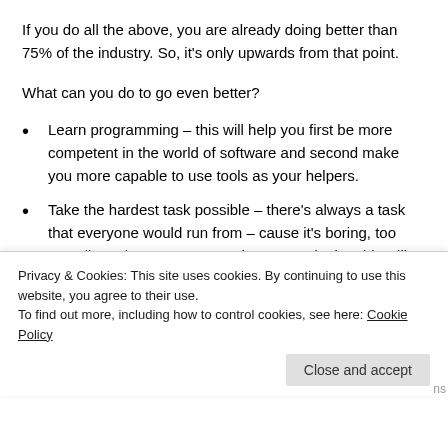If you do all the above, you are already doing better than 75% of the industry. So, it's only upwards from that point.
What can you do to go even better?
Learn programming – this will help you first be more competent in the world of software and second make you more capable to use tools as your helpers.
Take the hardest task possible – there's always a task that everyone would run from – cause it's boring, too complicated, too unsexy or whatever. Take it – this will prove you're trustworthy, if you can handle it, it will
Privacy & Cookies: This site uses cookies. By continuing to use this website, you agree to their use.
To find out more, including how to control cookies, see here: Cookie Policy